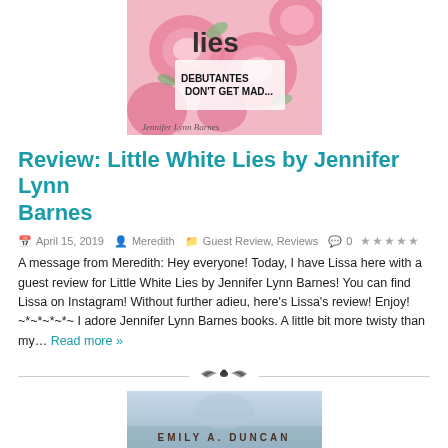[Figure (photo): Book cover of Little White Lies by Jennifer Lynn Barnes showing pink floral design with text 'Debutantes Don't Get Mad']
Review: Little White Lies by Jennifer Lynn Barnes
April 15, 2019  Meredith  Guest Review, Reviews  0 ★★★★★
A message from Meredith: Hey everyone! Today, I have Lissa here with a guest review for Little White Lies by Jennifer Lynn Barnes! You can find Lissa on Instagram! Without further adieu, here's Lissa's review! Enjoy! ~*~*~*~*~ I adore Jennifer Lynn Barnes books. A little bit more twisty than my... Read more »
[Figure (photo): Decorative divider with bird/wing ornament in the center and horizontal lines on each side]
[Figure (photo): Book cover by Emily A. Duncan, partial view showing author name at bottom]